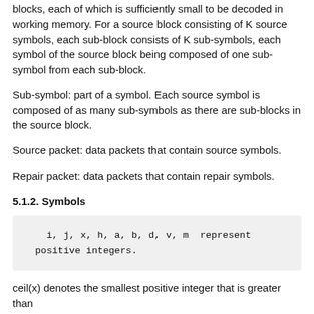blocks, each of which is sufficiently small to be decoded in working memory. For a source block consisting of K source symbols, each sub-block consists of K sub-symbols, each symbol of the source block being composed of one sub-symbol from each sub-block.
Sub-symbol: part of a symbol. Each source symbol is composed of as many sub-symbols as there are sub-blocks in the source block.
Source packet: data packets that contain source symbols.
Repair packet: data packets that contain repair symbols.
5.1.2. Symbols
i, j, x, h, a, b, d, v, m  represent positive integers.
ceil(x) denotes the smallest positive integer that is greater than